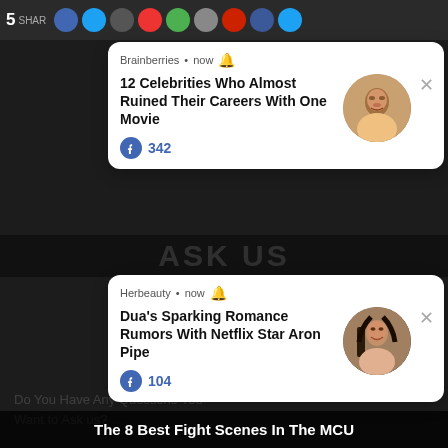5 SHARES — social share icons row
[Figure (screenshot): Brainberries push notification card: '12 Celebrities Who Almost Ruined Their Careers With One Movie' with 342 likes and a circular photo of Dwayne Johnson]
[Figure (screenshot): Herbeauty push notification card: 'Dua's Sparking Romance Rumors With Netflix Star Aron Pipe' with 104 likes and a circular photo of a woman looking up]
TAP HERE TO ASK:
No Thanks!
The 8 Best Fight Scenes In The MCU